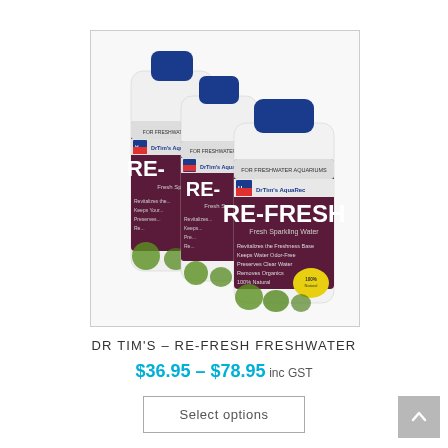[Figure (photo): Three Dr Tim's RE-FRESH Freshwater Aquarium product bottles of different sizes arranged in a stepped/diagonal formation, each with a blue cap, white bottle body, and dark maroon label showing the product name RE-FRESH and Fresh Sparkling Water. The smallest bottle at the front-right shows the most detail including bullet points and a yellow badge.]
DR TIM'S – RE-FRESH FRESHWATER
$36.95 – $78.95 inc GST